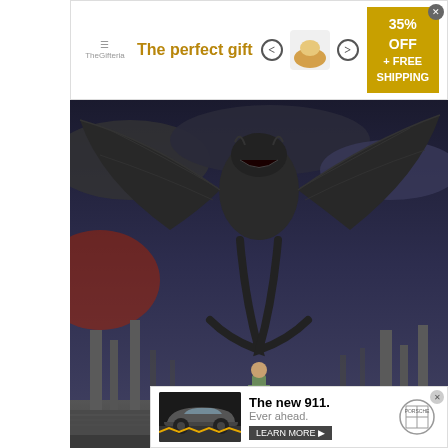[Figure (other): Advertisement banner: 'The perfect gift' with food product images, navigation arrows, 35% OFF + FREE SHIPPING promo button, and close X button]
[Figure (photo): Fantasy/movie scene showing a large dragon-like creature with wings spread in a dark, stormy landscape with ruins and stone columns. A small human figure stands before it.]
“That The Eagles Fellowship To M The Whole Plot
“Sauron has flying giant eagles proba and sky
[Figure (other): Video overlay popup: 'Up Next - Today Explained: Inflation Reli...' with Ad 1 of 1 (0:30) label, mute button, and video thumbnail showing a person getting a haircut]
[Figure (other): Porsche advertisement showing The new 911 car with tagline 'Ever ahead.' and LEARN MORE button with Porsche logo]